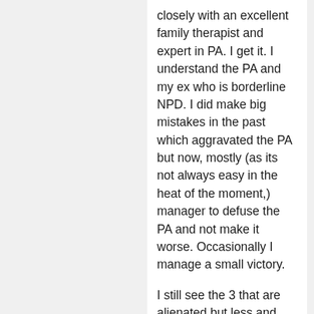closely with an excellent family therapist and expert in PA. I get it. I understand the PA and my ex who is borderline NPD. I did make big mistakes in the past which aggravated the PA but now, mostly (as its not always easy in the heat of the moment,) manager to defuse the PA and not make it worse. Occasionally I manage a small victory.
I still see the 3 that are alienated but less and less and I think it will soon dwindle to nothing. My ex of course just says that its up to the children to decide (ages 10-16) knowing now